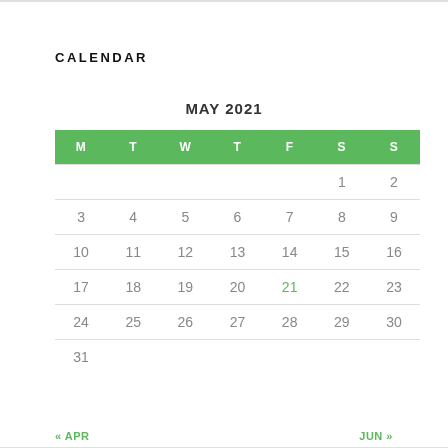CALENDAR
MAY 2021
| M | T | W | T | F | S | S |
| --- | --- | --- | --- | --- | --- | --- |
|  |  |  |  |  | 1 | 2 |
| 3 | 4 | 5 | 6 | 7 | 8 | 9 |
| 10 | 11 | 12 | 13 | 14 | 15 | 16 |
| 17 | 18 | 19 | 20 | 21 | 22 | 23 |
| 24 | 25 | 26 | 27 | 28 | 29 | 30 |
| 31 |  |  |  |  |  |  |
« APR    JUN »